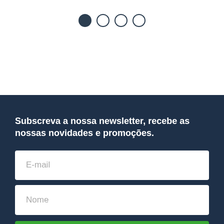[Figure (infographic): Pagination indicator with 4 circles: first filled dark, remaining three empty outlines]
Subscreva a nossa newsletter, recebe as nossas novidades e promoções.
E-mail
Nome
INSCREVA-SE